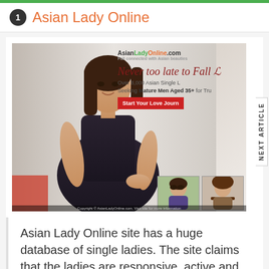1 Asian Lady Online
[Figure (screenshot): Screenshot of AsianLadyOnline.com website showing a young Asian woman in a black dress, with text 'Never too late to Fall', 'Over 8,000 Asian Single L', 'Seeking Mature Men Aged 35+ for Tru', a red 'Start Your Love Journ' button, and two thumbnail photos of Asian women at the bottom.]
Asian Lady Online site has a huge database of single ladies. The site claims that the ladies are responsive, active and genuinely looking for love.